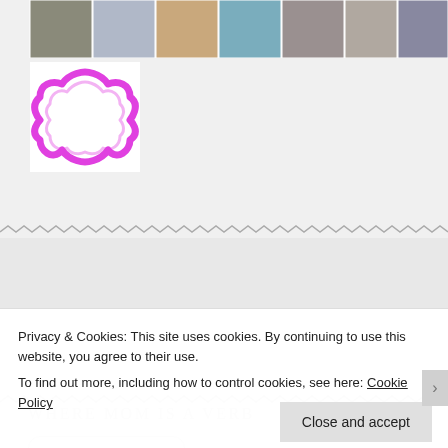[Figure (photo): A horizontal strip of small thumbnail photos showing various subjects including people, animals, and objects.]
[Figure (illustration): A pink/magenta decorative badge or seal outline icon (flower/quatrefoil shape) on a white square background.]
WHERE MOM IS A VERB
Privacy & Cookies: This site uses cookies. By continuing to use this website, you agree to their use.
To find out more, including how to control cookies, see here: Cookie Policy
Close and accept